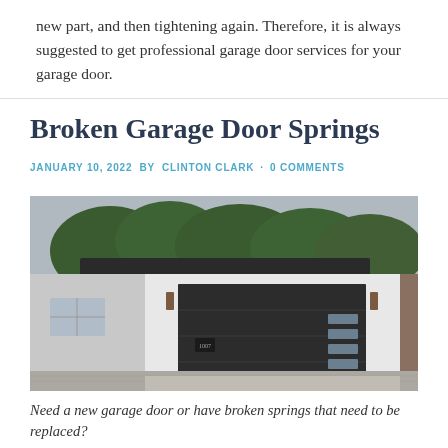new part, and then tightening again. Therefore, it is always suggested to get professional garage door services for your garage door.
Broken Garage Door Springs
JANUARY 10, 2022 BY CLINTON CLARK · 0 COMMENTS
[Figure (photo): Modern house with a large dark grey garage door with horizontal glass panel accents on the right side, white exterior walls, and trees in the background]
Need a new garage door or have broken springs that need to be replaced?